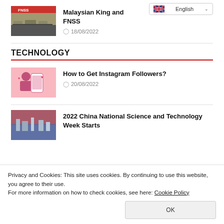[Figure (photo): Military group photo with vehicles in front of FNSS logo]
Malaysian King and FNSS
18/08/2022
TECHNOLOGY
[Figure (illustration): Person using Instagram on smartphone, pink illustration]
How to Get Instagram Followers?
20/08/2022
[Figure (photo): 2022 China National Science and Technology Week event photo]
2022 China National Science and Technology Week Starts
Privacy and Cookies: This site uses cookies. By continuing to use this website, you agree to their use.
For more information on how to check cookies, see here: Cookie Policy
OK